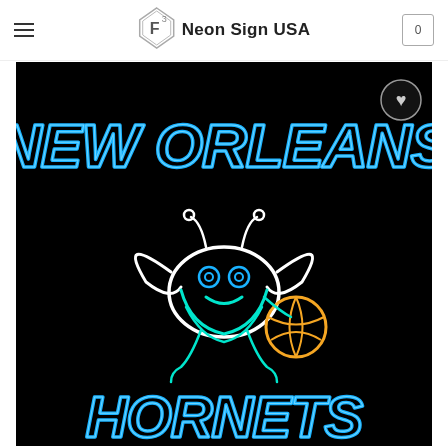[Figure (logo): Neon Sign USA logo — a diamond/shield shape with F-cube superscript icon and text 'Neon Sign USA']
[Figure (photo): Neon sign product image on black background showing 'NEW ORLEANS HORNETS' text in blue neon with a Hornets mascot (Hugo the hornet) in white, teal, and orange neon in the center. A circular heart/wishlist button is visible in the top right corner of the image.]